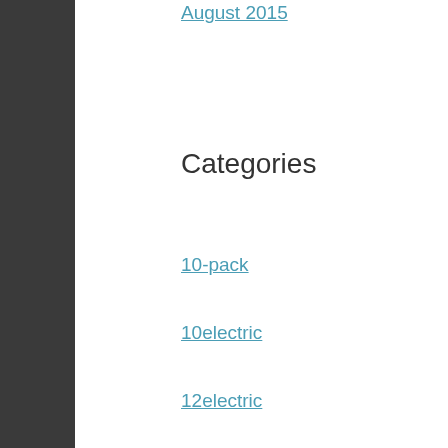August 2015
Categories
10-pack
10electric
12electric
12jandus
16table
1800's
1890's
1893-1906
1900s
1910-11c
1910-1920
1910s
1916